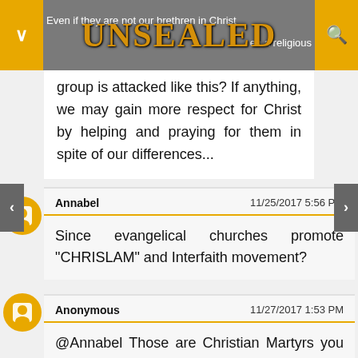UNSEALED
group is attacked like this? If anything, we may gain more respect for Christ by helping and praying for them in spite of our differences...
Annabel   11/25/2017 5:56 PM
Since evangelical churches promote "CHRISLAM" and Interfaith movement?
Anonymous   11/27/2017 1:53 PM
@Annabel Those are Christian Martyrs you are gloating over.